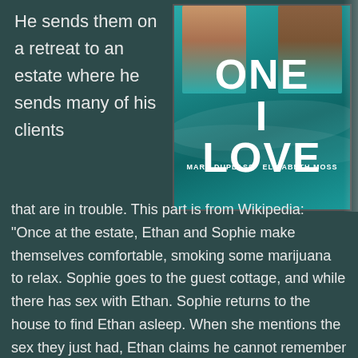He sends them on a retreat to an estate where he sends many of his clients
[Figure (photo): Book/movie cover showing two people in water with text 'ONE I LOVE' and 'MARK DUPLASS ELISABETH MOSS']
that are in trouble. This part is from Wikipedia: "Once at the estate, Ethan and Sophie make themselves comfortable, smoking some marijuana to relax. Sophie goes to the guest cottage, and while there has sex with Ethan. Sophie returns to the house to find Ethan asleep. When she mentions the sex they just had, Ethan claims he cannot remember and